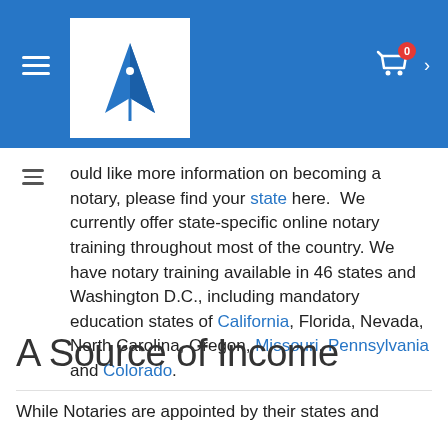Navigation header with logo, hamburger menu, and cart icon showing 0 items
ould like more information on becoming a notary, please find your state here.  We currently offer state-specific online notary training throughout most of the country. We have notary training available in 46 states and Washington D.C., including mandatory education states of California, Florida, Nevada, North Carolina, Oregon, Missouri, Pennsylvania and Colorado.
A Source of Income
While Notaries are appointed by their states and